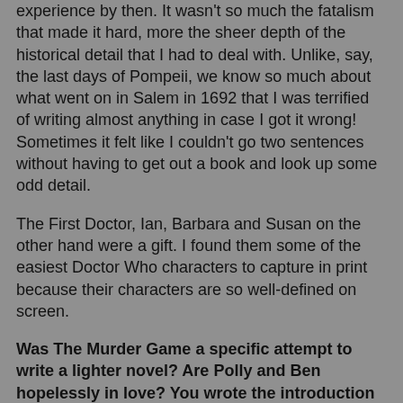experience by then. It wasn't so much the fatalism that made it hard, more the sheer depth of the historical detail that I had to deal with. Unlike, say, the last days of Pompeii, we know so much about what went on in Salem in 1692 that I was terrified of writing almost anything in case I got it wrong! Sometimes it felt like I couldn't go two sentences without having to get out a book and look up some odd detail.
The First Doctor, Ian, Barbara and Susan on the other hand were a gift. I found them some of the easiest Doctor Who characters to capture in print because their characters are so well-defined on screen.
Was The Murder Game a specific attempt to write a lighter novel? Are Polly and Ben hopelessly in love? You wrote the introduction of Dodo to the range not long after Daniel O'Mahony and David Bishop finished her off...do you think the books are a good way of fleshing out the lesser liked companions? Which were your favourite set of regulars to write for?
'The Murder Game', as I mentioned above, was an attempt